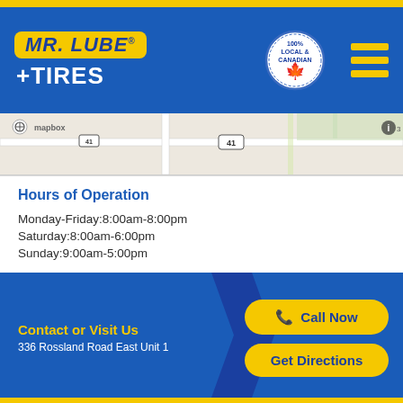[Figure (logo): Mr. Lube + Tires logo with yellow background box and white +TIRES text, alongside 100% Local & Canadian badge and hamburger menu icon]
[Figure (map): Mapbox street map snippet showing local roads with route 41 visible]
Hours of Operation
Monday-Friday:8:00am-8:00pm
Saturday:8:00am-6:00pm
Sunday:9:00am-5:00pm
Contact or Visit Us
336 Rossland Road East Unit 1
Call Now
Get Directions